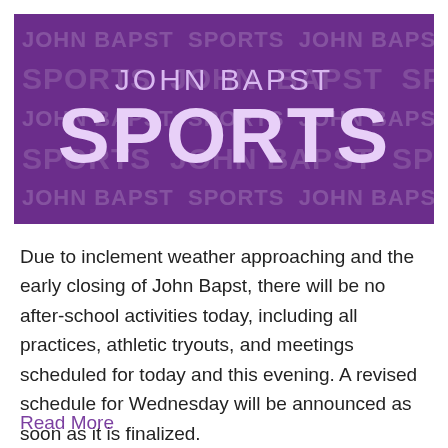[Figure (illustration): Purple banner with repeated watermark text 'JOHN BAPST SPORTS' in background, and prominent foreground text 'JOHN BAPST' in light purple and 'SPORTS' in bold white/light lavender]
Due to inclement weather approaching and the early closing of John Bapst, there will be no after-school activities today, including all practices, athletic tryouts, and meetings scheduled for today and this evening. A revised schedule for Wednesday will be announced as soon as it is finalized.
Read More